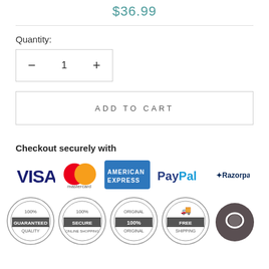$36.99
Quantity:
− 1 +
ADD TO CART
Checkout securely with
[Figure (logo): Payment method logos: VISA, Mastercard, American Express, PayPal, Razorpay]
[Figure (infographic): Four trust badge seals: 100% Guaranteed Quality, 100% Secure Online Shopping, Original 100% Original, Free Shipping]